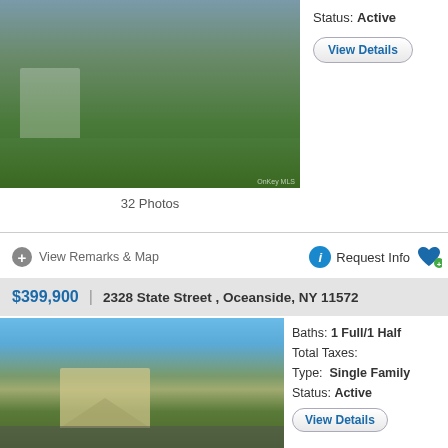[Figure (photo): Exterior photo of a house with landscaped front yard, green lawn, flower beds, black lantern lamp post, and a path leading to the entrance. OnKey MLS watermark visible.]
32 Photos
Status: Active
View Details
View Remarks & Map
Request Info
$399,900  |  2328 State Street , Oceanside, NY 11572
[Figure (photo): Exterior photo of a small single-family house with yellow/cream siding, gray roof, white front door, shrubs, and a concrete walkway. Adjacent houses and a parked SUV visible.]
Baths: 1 Full/1 Half
Total Taxes:
Type:  Single Family
Status: Active
View Details